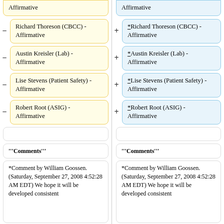Affirmative
Affirmative
Richard Thoreson (CBCC) - Affirmative
*Richard Thoreson (CBCC) - Affirmative
Austin Kreisler (Lab) - Affirmative
*Austin Kreisler (Lab) - Affirmative
Lise Stevens (Patient Safety) - Affirmative
*Lise Stevens (Patient Safety) - Affirmative
Robert Root (ASIG) - Affirmative
*Robert Root (ASIG) - Affirmative
'''Comments'''
'''Comments'''
*Comment by William Goossen. (Saturday, September 27, 2008 4:52:28 AM EDT) We hope it will be developed consistent
*Comment by William Goossen. (Saturday, September 27, 2008 4:52:28 AM EDT) We hope it will be developed consistent